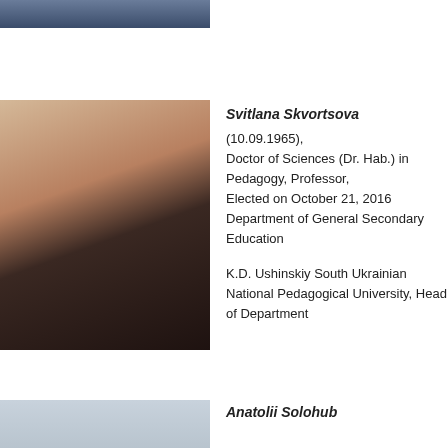[Figure (photo): Partial photo of a person (cropped), visible at the very top of the page, showing a dark jacket/suit against a light background.]
[Figure (photo): Photo of Svitlana Skvortsova, a woman with reddish-brown hair wearing a black lace top and white pearl necklace, seated.]
Svitlana Skvortsova
(10.09.1965),
Doctor of Sciences (Dr. Hab.) in Pedagogy, Professor,
Elected on October 21, 2016
Department of General Secondary Education

K.D. Ushinskiy South Ukrainian National Pedagogical University, Head of Department
[Figure (photo): Partial photo of Anatolii Solohub, partially visible at the bottom of the page.]
Anatolii Solohub